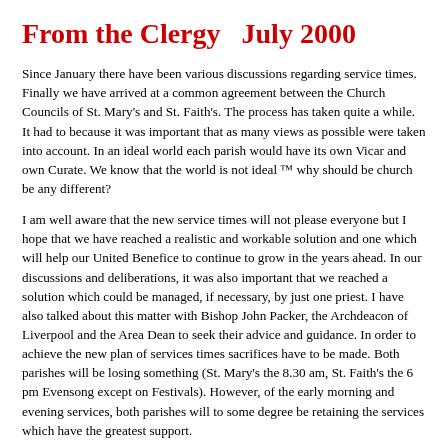From the Clergy  July 2000
Since January there have been various discussions regarding service times. Finally we have arrived at a common agreement between the Church Councils of St. Mary's and St. Faith's. The process has taken quite a while. It had to because it was important that as many views as possible were taken into account. In an ideal world each parish would have its own Vicar and own Curate. We know that the world is not ideal ™ why should be church be any different?
I am well aware that the new service times will not please everyone but I hope that we have reached a realistic and workable solution and one which will help our United Benefice to continue to grow in the years ahead. In our discussions and deliberations, it was also important that we reached a solution which could be managed, if necessary, by just one priest. I have also talked about this matter with Bishop John Packer, the Archdeacon of Liverpool and the Area Dean to seek their advice and guidance. In order to achieve the new plan of services times sacrifices have to be made. Both parishes will be losing something (St. Mary's the 8.30 am, St. Faith's the 6 pm Evensong except on Festivals). However, of the early morning and evening services, both parishes will to some degree be retaining the services which have the greatest support.